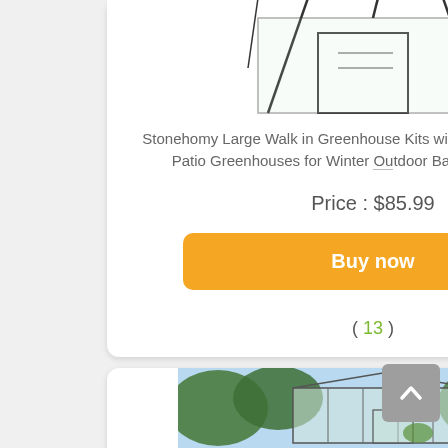[Figure (photo): Walk-in greenhouse with transparent cover and shelves, product image (partially visible at top)]
Stonehomy Large Walk in Greenhouse Kits with Shelves, Heavy Duty Patio Greenhouses for Winter Outdoor Backyard Plant...
Price : $85.99
Buy now
( 13 )
[Figure (photo): Glass greenhouse in a garden setting, second product card (partially visible at bottom)]